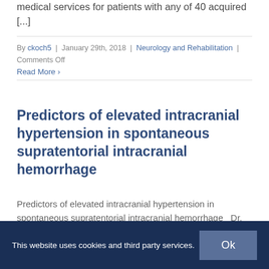medical services for patients with any of 40 acquired [...]
By ckoch5 | January 29th, 2018 | Neurology and Rehabilitation | Comments Off
Read More ›
Predictors of elevated intracranial hypertension in spontaneous supratentorial intracranial hemorrhage
Predictors of elevated intracranial hypertension in spontaneous supratentorial intracranial hemorrhage  Dr.
This website uses cookies and third party services.